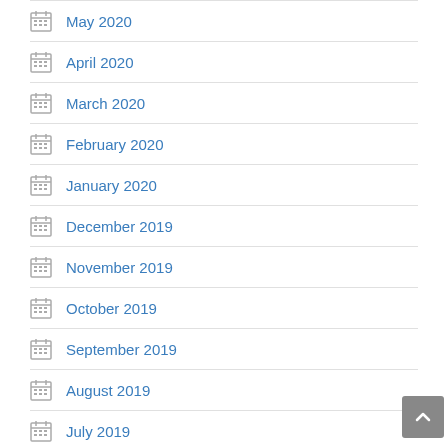May 2020
April 2020
March 2020
February 2020
January 2020
December 2019
November 2019
October 2019
September 2019
August 2019
July 2019
June 2019